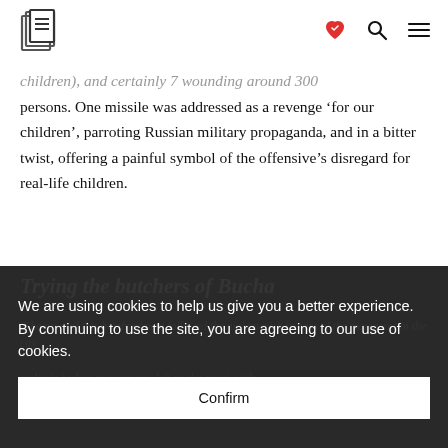[Logo] [Heart icon] [Search icon] [Menu icon]
children), and certainly 7 wounding around 300 persons. One missile was addressed as a revenge ‘for our children’, parroting Russian military propaganda, and in a bitter twist, offering a painful symbol of the offensive’s disregard for real-life children.
Trying the butchers of Bucha
‘The news of this bombardment followed the nightmarish images of the massacres in the city [multiple bodies, in summary, left on the street, with their hands tied behind their back, shot…]
We are using cookies to help us give you a better experience. By continuing to use the site, you are agreeing to our use of cookies.
Confirm